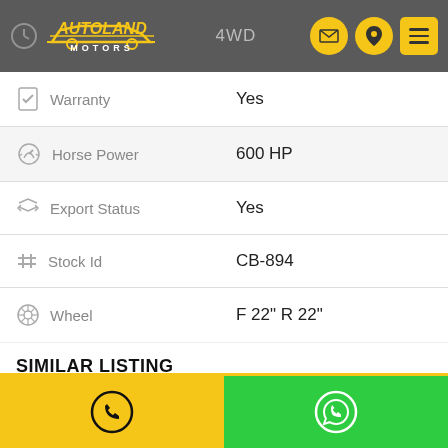AUTOLAND MOTORS — 4WD
| Feature | Value |
| --- | --- |
| Warranty | Yes |
| Horse Power | 600 HP |
| Export Status | Yes |
| Stock Id | CB-894 |
| Wheel | F 22" R 22" |
SIMILAR LISTING
Call | WhatsApp